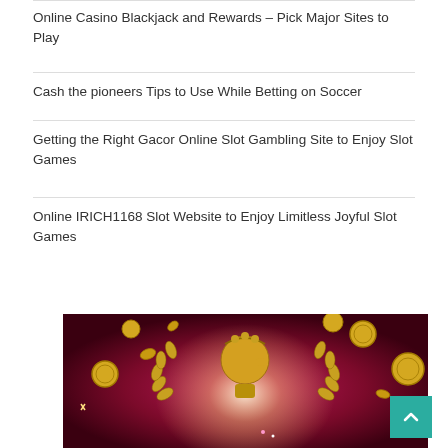Online Casino Blackjack and Rewards – Pick Major Sites to Play
Cash the pioneers Tips to Use While Betting on Soccer
Getting the Right Gacor Online Slot Gambling Site to Enjoy Slot Games
Online IRICH1168 Slot Website to Enjoy Limitless Joyful Slot Games
[Figure (photo): Dark magenta/maroon background with golden coins flying around a golden Roman emperor profile coin/medallion with laurel wreath, bright light burst in center]